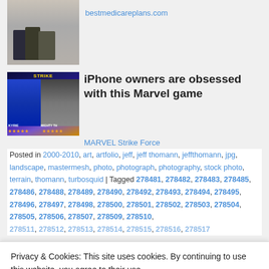[Figure (photo): Partial advertisement image at top showing people walking, with link to bestmedicareplans.com]
bestmedicareplans.com
[Figure (photo): MARVEL Strike Force game advertisement showing characters KYRIE and MIGHTY TH with star ratings]
iPhone owners are obsessed with this Marvel game
MARVEL Strike Force
Posted in 2000-2010, art, artfolio, jeff, jeff thomann, jeffthomann, jpg, landscape, mastermesh, photo, photograph, photography, stock photo, terrain, thomann, turbosquid | Tagged 278481, 278482, 278483, 278485, 278486, 278488, 278489, 278490, 278492, 278493, 278494, 278495, 278496, 278497, 278498, 278500, 278501, 278502, 278503, 278504, 278505, 278506, 278507, 278509, 278510, 278511, 278512, 278513, 278514, 278515, 278516, 278517
Privacy & Cookies: This site uses cookies. By continuing to use this website, you agree to their use.
To find out more, including how to control cookies, see here: Cookie Policy